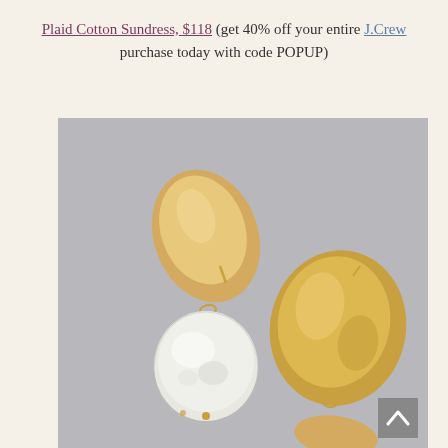Plaid Cotton Sundress, $118 (get 40% off your entire J.Crew purchase today with code POPUP)
[Figure (photo): Two gold drop earrings with coin pearl pendants on a gray background. Left earring shows the full piece: oval matte gold disc stud at top connected by a small link to a round white freshwater coin pearl at the bottom. Right earring shows only the gold disc portion.]